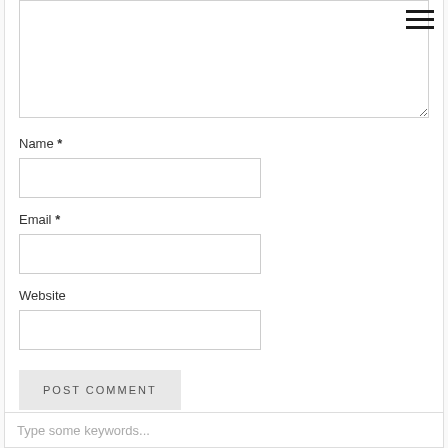[Figure (screenshot): Hamburger menu icon with three horizontal bars in top right corner]
Name *
Email *
Website
POST COMMENT
Type some keywords...